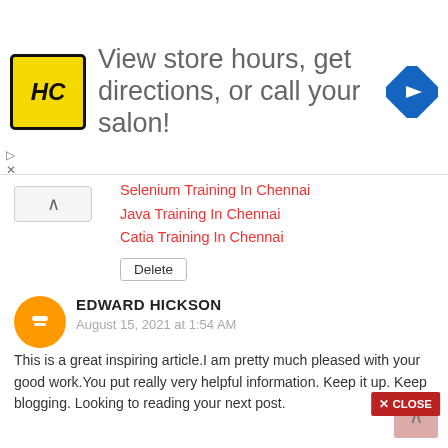[Figure (infographic): Advertisement banner: HC logo (yellow square with HC monogram), text 'View store hours, get directions, or call your salon!', blue diamond arrow icon on the right. Collapse and close markers on left side.]
Selenium Training In Chennai
Java Training In Chennai
Catia Training In Chennai
Delete
EDWARD HICKSON
August 15, 2021 at 1:54 AM
This is a great inspiring article.I am pretty much pleased with your good work.You put really very helpful information. Keep it up. Keep blogging. Looking to reading your next post.
atomic email hunter crack
foxit reader activation crack
spotify mac Crack
Edraw Max Crack
Reply  Delete